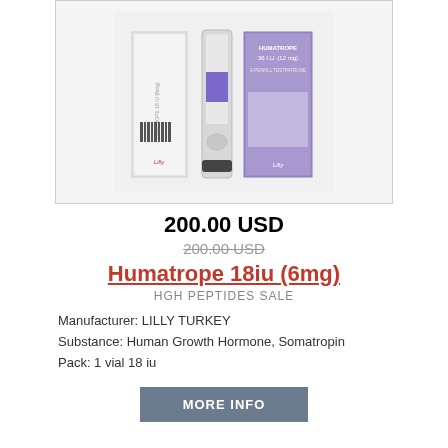[Figure (photo): Product photo of Humatrope 18iu (6mg) showing packaging box and injection pen/vial against white background]
200.00 USD
200.00 USD (strikethrough old price)
Humatrope 18iu (6mg)
HGH PEPTIDES SALE
Manufacturer: LILLY TURKEY
Substance: Human Growth Hormone, Somatropin
Pack: 1 vial 18 iu
MORE INFO